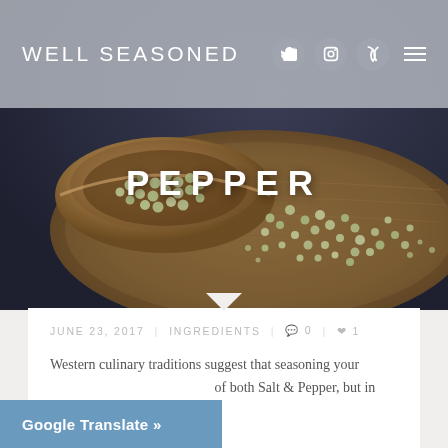WELL SEASONED
[Figure (photo): A wooden bowl spilling green/white peppercorns onto a rustic wooden cutting board, photographed from above on a dark blue background. The word PEPPER is overlaid in white bold uppercase letters in the center of the image.]
PEPPER
JUNE 23, 2017   INGREDIENTS   0   1
Western culinary traditions suggest that seasoning your of both Salt & Pepper, but in
Google Translate »